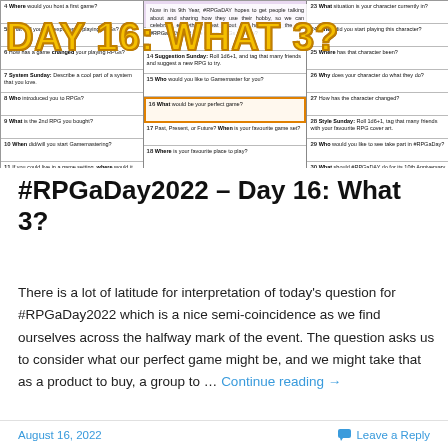[Figure (other): RPGaDay 2022 prompt calendar grid with numbered days 4-31 and their questions, overlaid with large yellow text 'DAY 16: WHAT 3?' and a center text box about RPGaDay's 9th year]
#RPGaDay2022 – Day 16: What 3?
There is a lot of latitude for interpretation of today's question for #RPGaDay2022 which is a nice semi-coincidence as we find ourselves across the halfway mark of the event. The question asks us to consider what our perfect game might be, and we might take that as a product to buy, a group to … Continue reading →
August 16, 2022   Leave a Reply